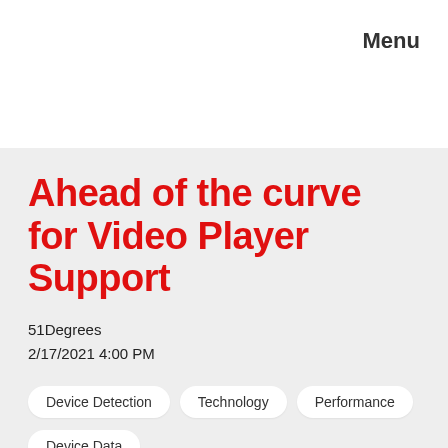Menu
Ahead of the curve for Video Player Support
51Degrees
2/17/2021 4:00 PM
Device Detection
Technology
Performance
Device Data